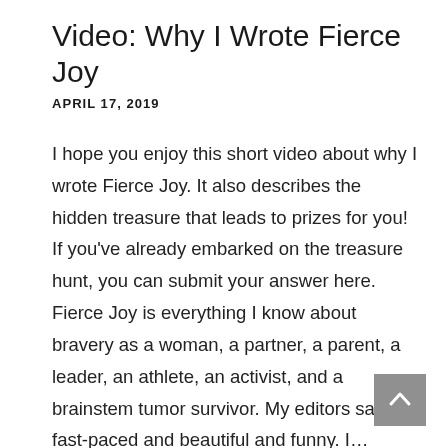Video: Why I Wrote Fierce Joy
APRIL 17, 2019
I hope you enjoy this short video about why I wrote Fierce Joy. It also describes the hidden treasure that leads to prizes for you! If you've already embarked on the treasure hunt, you can submit your answer here. Fierce Joy is everything I know about bravery as a woman, a partner, a parent, a leader, an athlete, an activist, and a brainstem tumor survivor. My editors say it's fast-paced and beautiful and funny. I… Read more